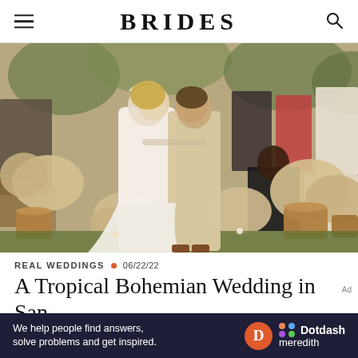BRIDES
[Figure (photo): Outdoor wedding ceremony photo showing a couple kissing at the altar, surrounded by guests clapping. Aisle is decorated with pampas grass and wicker lanterns. Rustic bohemian outdoor setting with lush greenery in background.]
REAL WEDDINGS • 06/22/22
A Tropical Bohemian Wedding in San
We help people find answers, solve problems and get inspired. Dotdash meredith